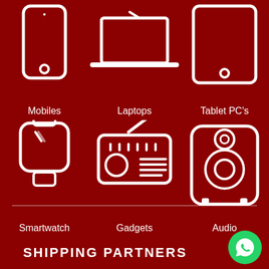[Figure (infographic): Six product category icons on dark red background: Mobiles (smartphone), Laptops (laptop computer), Tablet PC's (tablet), Smartwatch (wristwatch), Gadgets (radio), Audio (speaker)]
Mobiles
Laptops
Tablet PC's
Smartwatch
Gadgets
Audio
SHIPPING PARTNERS